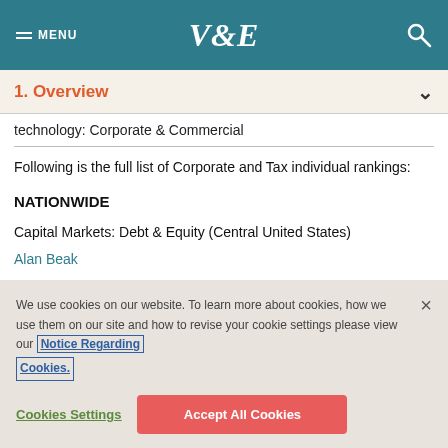MENU  V&E  [search icon]
1. Overview
technology: Corporate & Commercial
Following is the full list of Corporate and Tax individual rankings:
NATIONWIDE
Capital Markets: Debt & Equity (Central United States)
Alan Beak
We use cookies on our website. To learn more about cookies, how we use them on our site and how to revise your cookie settings please view our Notice Regarding Cookies.
Cookies Settings  Accept All Cookies